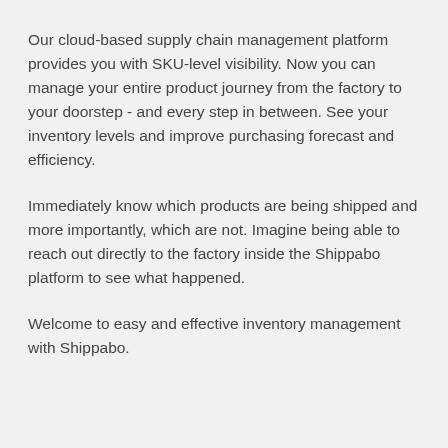Our cloud-based supply chain management platform provides you with SKU-level visibility. Now you can manage your entire product journey from the factory to your doorstep - and every step in between. See your inventory levels and improve purchasing forecast and efficiency.
Immediately know which products are being shipped and more importantly, which are not. Imagine being able to reach out directly to the factory inside the Shippabo platform to see what happened.
Welcome to easy and effective inventory management with Shippabo.